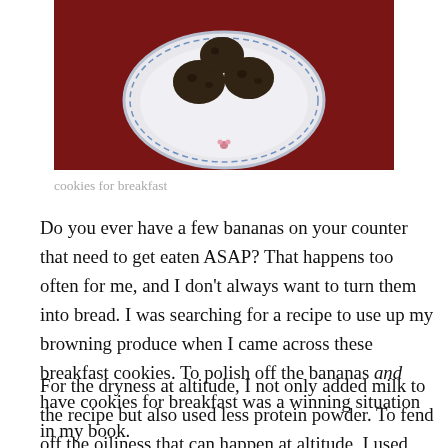[Figure (photo): A white decorative plate with dark round cookies/energy balls on a dark red/burgundy tablecloth, photographed from above.]
cookies for breakfast
Do you ever have a few bananas on your counter that need to get eaten ASAP? That happens too often for me, and I don't always want to turn them into bread. I was searching for a recipe to use up my browning produce when I came across these breakfast cookies. To polish off the bananas and have cookies for breakfast was a winning situation in my book.
For the dryness at altitude, I not only added milk to the recipe but also used less protein powder. To fend off the oiliness that can happen at altitude, I used less oil. I made a few other minor tweaks, the most notable being the use